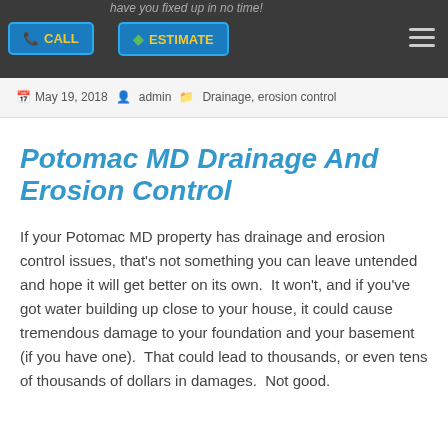have you fixed up in no time!
May 19, 2018   admin   Drainage, erosion control
Potomac MD Drainage And Erosion Control
If your Potomac MD property has drainage and erosion control issues, that's not something you can leave untended and hope it will get better on its own.  It won't, and if you've got water building up close to your house, it could cause tremendous damage to your foundation and your basement (if you have one).  That could lead to thousands, or even tens of thousands of dollars in damages.  Not good.